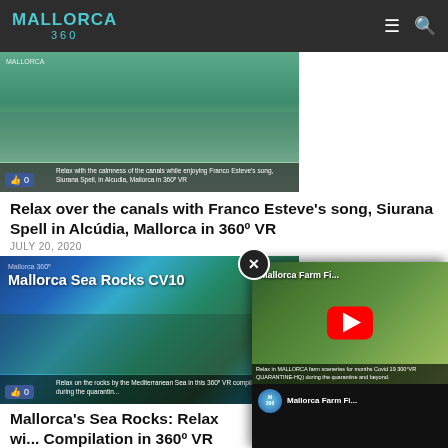Mallorca 360
[Figure (screenshot): Video thumbnail showing canals of Alcudia Mallorca with like button overlay]
Relax over the canals with Franco Esteve's song, Siurana Spell in Alcúdia, Mallorca in 360º VR
JULY 20, 2020
[Figure (screenshot): Video thumbnail for Mallorca Sea Rocks CV10 with like button overlay]
Mallorca's Sea Rocks: Relax with a Compilation in 360º VR
[Figure (screenshot): YouTube popup player showing Mallorca Farm Fi... video with play button and channel icon]